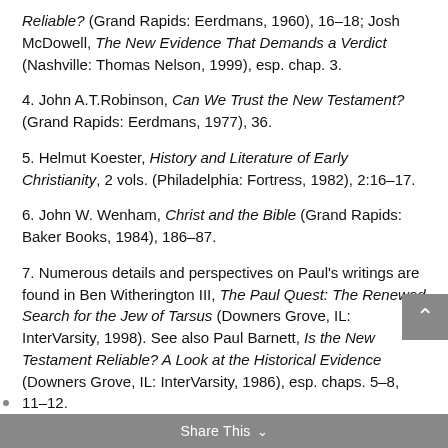Reliable? (Grand Rapids: Eerdmans, 1960), 16–18; Josh McDowell, The New Evidence That Demands a Verdict (Nashville: Thomas Nelson, 1999), esp. chap. 3.
4. John A.T.Robinson, Can We Trust the New Testament? (Grand Rapids: Eerdmans, 1977), 36.
5. Helmut Koester, History and Literature of Early Christianity, 2 vols. (Philadelphia: Fortress, 1982), 2:16–17.
6. John W. Wenham, Christ and the Bible (Grand Rapids: Baker Books, 1984), 186–87.
7. Numerous details and perspectives on Paul's writings are found in Ben Witherington III, The Paul Quest: The Renewed Search for the Jew of Tarsus (Downers Grove, IL: InterVarsity, 1998). See also Paul Barnett, Is the New Testament Reliable? A Look at the Historical Evidence (Downers Grove, IL: InterVarsity, 1986), esp. chaps. 5–8, 11–12.